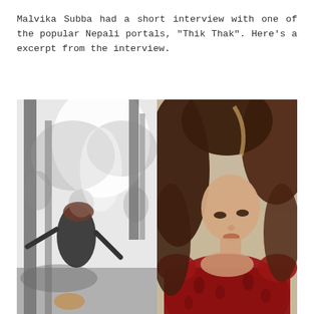Malvika Subba had a short interview with one of the popular Nepali portals, "Thik Thak". Here's a excerpt from the interview.
[Figure (photo): Two side-by-side photos of Malvika Subba. Left photo is black and white showing a woman in a forest setting looking upward with arms outstretched, wearing a dark outfit. Right photo is color showing a woman with long brown hair wearing a red top, looking downward.]